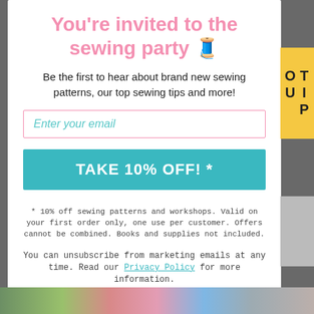You're invited to the sewing party 🧵
Be the first to hear about brand new sewing patterns, our top sewing tips and more!
Enter your email
TAKE 10% OFF! *
* 10% off sewing patterns and workshops. Valid on your first order only, one use per customer. Offers cannot be combined. Books and supplies not included.
You can unsubscribe from marketing emails at any time. Read our Privacy Policy for more information.